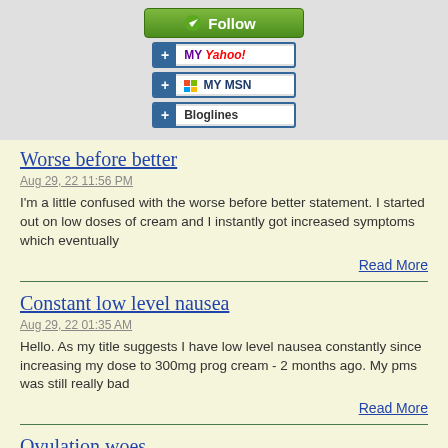[Figure (screenshot): Follow, My Yahoo!, My MSN, and Bloglines subscription buttons]
Worse before better
Aug 29, 22 11:56 PM
I'm a little confused with the worse before better statement. I started out on low doses of cream and I instantly got increased symptoms which eventually
Read More
Constant low level nausea
Aug 29, 22 01:35 AM
Hello. As my title suggests I have low level nausea constantly since increasing my dose to 300mg prog cream - 2 months ago. My pms was still really bad
Read More
Ovulation woes
Aug 24, 22 03:46 AM
Since starting progesterone cream at 100mg each month my ovulation has become more problematic. I get ovulation pain. This is normal for me, but now I...